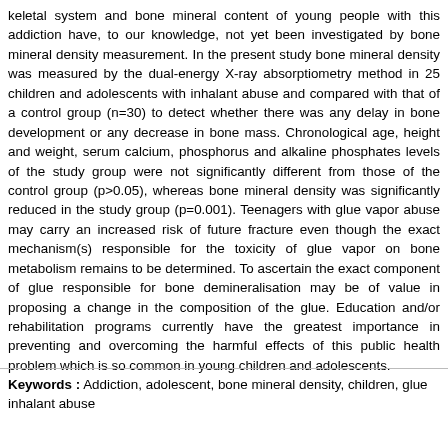keletal system and bone mineral content of young people with this addiction have, to our knowledge, not yet been investigated by bone mineral density measurement. In the present study bone mineral density was measured by the dual-energy X-ray absorptiometry method in 25 children and adolescents with inhalant abuse and compared with that of a control group (n=30) to detect whether there was any delay in bone development or any decrease in bone mass. Chronological age, height and weight, serum calcium, phosphorus and alkaline phosphates levels of the study group were not significantly different from those of the control group (p>0.05), whereas bone mineral density was significantly reduced in the study group (p=0.001). Teenagers with glue vapor abuse may carry an increased risk of future fracture even though the exact mechanism(s) responsible for the toxicity of glue vapor on bone metabolism remains to be determined. To ascertain the exact component of glue responsible for bone demineralisation may be of value in proposing a change in the composition of the glue. Education and/or rehabilitation programs currently have the greatest importance in preventing and overcoming the harmful effects of this public health problem which is so common in young children and adolescents.
Keywords : Addiction, adolescent, bone mineral density, children, glue inhalant abuse